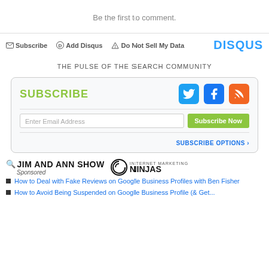Be the first to comment.
Subscribe  Add Disqus  Do Not Sell My Data  DISQUS
THE PULSE OF THE SEARCH COMMUNITY
SUBSCRIBE  [Twitter] [Facebook] [RSS]  Enter Email Address  Subscribe Now  SUBSCRIBE OPTIONS >
[Figure (logo): Jim and Ann Show logo with magnifying glass icon and Sponsored text]
[Figure (logo): Internet Marketing Ninjas logo]
How to Deal with Fake Reviews on Google Business Profiles with Ben Fisher
How to Avoid Being Suspended on Google Business Profile (& Get...